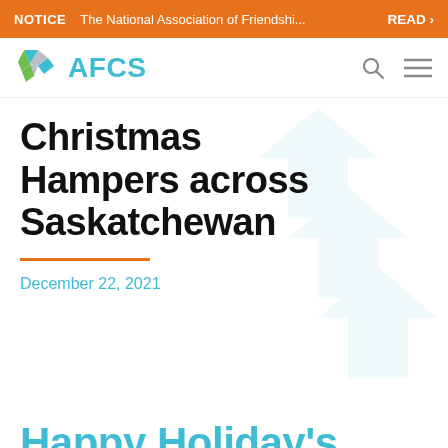NOTICE  The National Association of Friendshi...  READ >
[Figure (logo): AFCS logo with geometric diamond shape in teal, green, and grey, and search and menu icons in the nav bar]
Christmas Hampers across Saskatchewan
December 22, 2021
Happy Holiday's